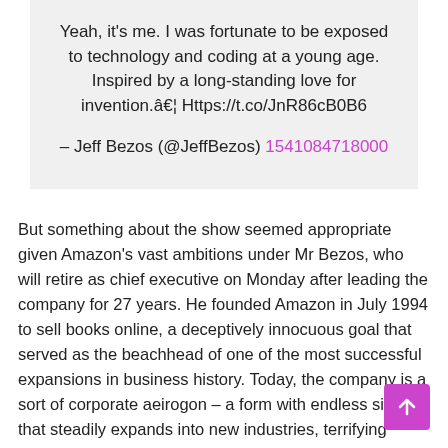Yeah, it's me. I was fortunate to be exposed to technology and coding at a young age. Inspired by a long-standing love for invention.â€¦ Https://t.co/JnR86cB0B6
– Jeff Bezos (@JeffBezos) 1541084718000
But something about the show seemed appropriate given Amazon's vast ambitions under Mr Bezos, who will retire as chief executive on Monday after leading the company for 27 years. He founded Amazon in July 1994 to sell books online, a deceptively innocuous goal that served as the beachhead of one of the most successful expansions in business history. Today, the company is a sort of corporate aeirogon – a form with endless sides – that steadily expands into new industries, terrifying potential competitors and sending explosions of anxiety through the antitrust establishment.